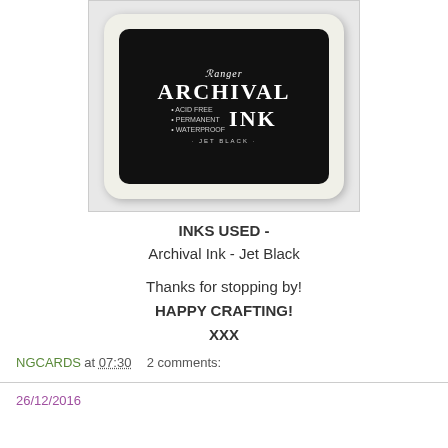[Figure (photo): Ranger Archival Ink pad in Jet Black. White/cream colored pad with a black label reading ARCHIVAL INK, Acid Free, Permanent, Waterproof, Jet Black.]
INKS USED -
Archival Ink - Jet Black

Thanks for stopping by!
HAPPY CRAFTING!
XXX
NGCARDS at 07:30    2 comments:
26/12/2016